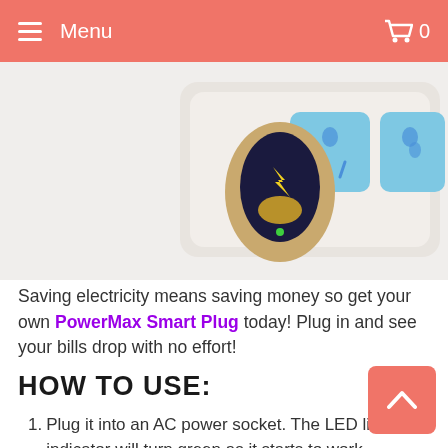Menu  0
[Figure (photo): Product photo of PowerMax Smart Plug device (gold/navy plug) next to blue Australian power socket on white power board]
Saving electricity means saving money so get your own PowerMax Smart Plug today! Plug in and see your bills drop with no effort!
HOW TO USE:
1. Plug it into an AC power socket. The LED light indicator will turn green as it starts to work.
2. Keep it plugged in at all times for effective power saving. See your...